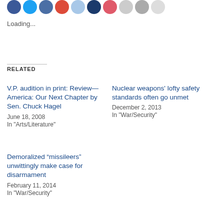[Figure (other): Row of circular social media sharing icon buttons in various colors (blue, light blue, dark blue, red, light pink, dark navy, red-pink, light gray, gray, light gray)]
Loading...
RELATED
V.P. audition in print: Review—America: Our Next Chapter by Sen. Chuck Hagel
June 18, 2008
In "Arts/Literature"
Nuclear weapons’ lofty safety standards often go unmet
December 2, 2013
In "War/Security"
Demoralized “missileers” unwittingly make case for disarmament
February 11, 2014
In "War/Security"